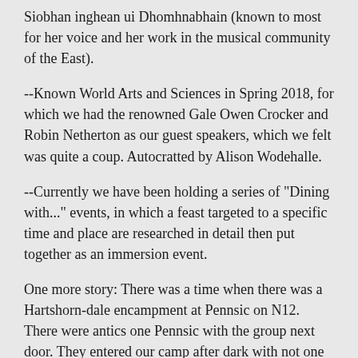Siobhan inghean ui Dhomhnabhain (known to most for her voice and her work in the musical community of the East).
--Known World Arts and Sciences in Spring 2018, for which we had the renowned Gale Owen Crocker and Robin Netherton as our guest speakers, which we felt was quite a coup. Autocratted by Alison Wodehalle.
--Currently we have been holding a series of "Dining with..." events, in which a feast targeted to a specific time and place are researched in detail then put together as an immersion event.
One more story: There was a time when there was a Hartshorn-dale encampment at Pennsic on N12. There were antics one Pennsic with the group next door. They entered our camp after dark with not one of us seeing them though many were home, and they did put flamingoes throughout the camp. We then spent the week “searching for homes” for the flamingoes. The flamingoes went to classes, and to Herald’s point. They went